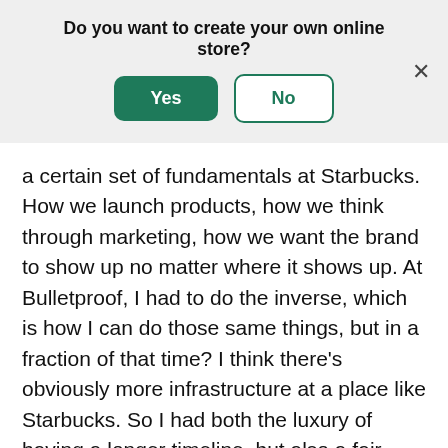Do you want to create your own online store?
[Figure (screenshot): A modal dialog with a dark green Yes button and a white/outlined No button, and an X close button on the right.]
a certain set of fundamentals at Starbucks. How we launch products, how we think through marketing, how we want the brand to show up no matter where it shows up. At Bulletproof, I had to do the inverse, which is how I can do those same things, but in a fraction of that time? I think there's obviously more infrastructure at a place like Starbucks. So I had both the luxury of having a longer timeline, but also a fair amount of guardrails around that were imposed from way above my pay grade as